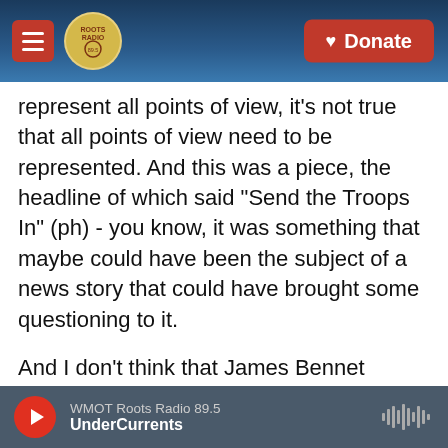[Figure (screenshot): Top navigation bar with hamburger menu (red), Roots Radio logo circle, and red Donate button on blue/dark background with guitar image]
represent all points of view, it's not true that all points of view need to be represented. And this was a piece, the headline of which said "Send the Troops In" (ph) - you know, it was something that maybe could have been the subject of a news story that could have brought some questioning to it.
And I don't think that James Bennet resigned because he published that piece. There was a lot of controversy around the practices within the department, including the fact that he defended the piece afterwards and yet hadn't read it before it published. So it's a little bit more complicated than
[Figure (screenshot): Bottom audio player bar with red play button, WMOT Roots Radio 89.5 station name, UnderCurrents show name, and waveform icon on dark gray background]